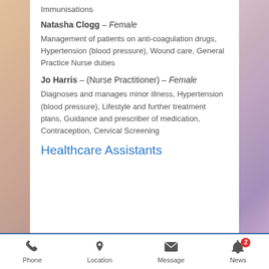Immunisations
Natasha Clogg – Female
Management of patients on anti-coagulation drugs, Hypertension (blood pressure), Wound care, General Practice Nurse duties
Jo Harris – (Nurse Practitioner) – Female
Diagnoses and manages minor illness, Hypertension (blood pressure), Lifestyle and further treatment plans, Guidance and prescriber of medication, Contraception, Cervical Screening
Healthcare Assistants
Phone  Location  Message  News